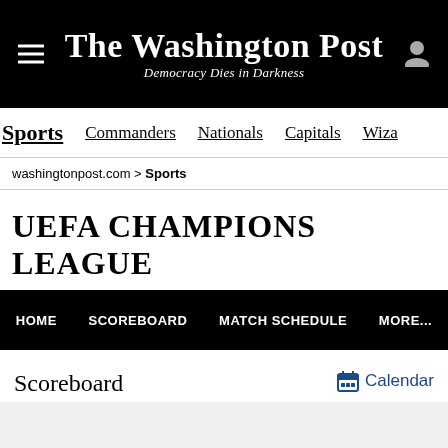The Washington Post — Democracy Dies in Darkness
Sports | Commanders | Nationals | Capitals | Wiza
washingtonpost.com > Sports
UEFA CHAMPIONS LEAGUE
HOME | SCOREBOARD | MATCH SCHEDULE | MORE...
Scoreboard
Calendar
Previous Day | Tue., September 6 | Next Day